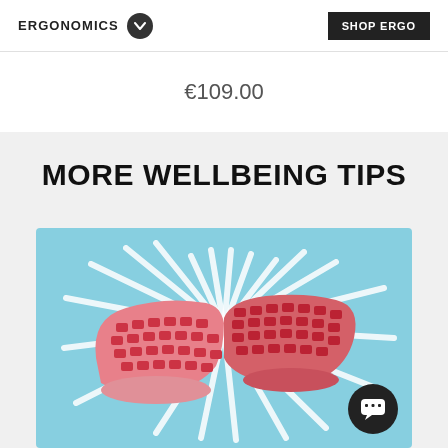ERGONOMICS | SHOP ERGO
€109.00
MORE WELLBEING TIPS
[Figure (photo): Pink ergonomic split keyboard on a light blue background with white radiating lines suggesting shine or energy, with a dark chat bubble icon in the bottom right corner.]